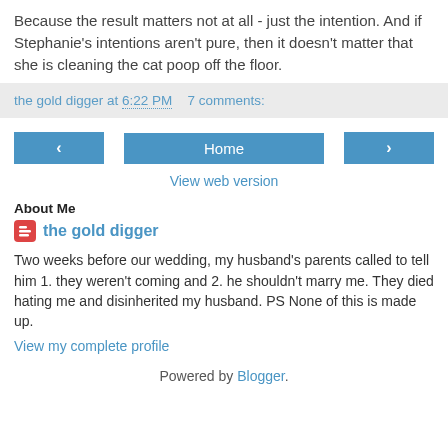Because the result matters not at all - just the intention. And if Stephanie's intentions aren't pure, then it doesn't matter that she is cleaning the cat poop off the floor.
the gold digger at 6:22 PM   7 comments:
[Figure (other): Navigation bar with left arrow button, Home button, and right arrow button]
View web version
About Me
the gold digger
Two weeks before our wedding, my husband's parents called to tell him 1. they weren't coming and 2. he shouldn't marry me. They died hating me and disinherited my husband. PS None of this is made up.
View my complete profile
Powered by Blogger.